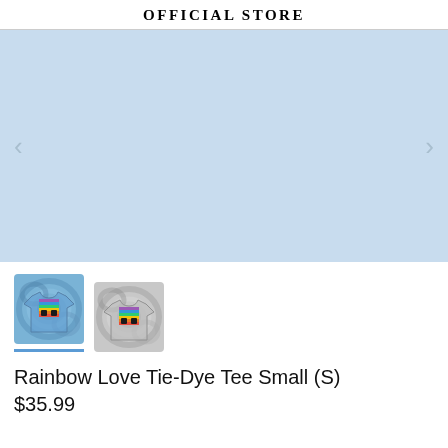OFFICIAL STORE
[Figure (photo): Large light blue product image area with left and right navigation arrows for an online store product carousel]
[Figure (photo): Two thumbnail images of tie-dye t-shirts: first is blue tie-dye with rainbow graphic, second is grey tie-dye with rainbow graphic. First thumbnail has a blue underline indicating it is selected.]
Rainbow Love Tie-Dye Tee Small (S)
$35.99